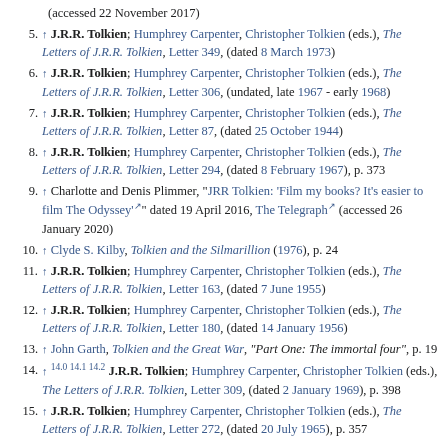(accessed 22 November 2017)
5. ↑ J.R.R. Tolkien; Humphrey Carpenter, Christopher Tolkien (eds.), The Letters of J.R.R. Tolkien, Letter 349, (dated 8 March 1973)
6. ↑ J.R.R. Tolkien; Humphrey Carpenter, Christopher Tolkien (eds.), The Letters of J.R.R. Tolkien, Letter 306, (undated, late 1967 - early 1968)
7. ↑ J.R.R. Tolkien; Humphrey Carpenter, Christopher Tolkien (eds.), The Letters of J.R.R. Tolkien, Letter 87, (dated 25 October 1944)
8. ↑ J.R.R. Tolkien; Humphrey Carpenter, Christopher Tolkien (eds.), The Letters of J.R.R. Tolkien, Letter 294, (dated 8 February 1967), p. 373
9. ↑ Charlotte and Denis Plimmer, "JRR Tolkien: 'Film my books? It's easier to film The Odyssey'" dated 19 April 2016, The Telegraph (accessed 26 January 2020)
10. ↑ Clyde S. Kilby, Tolkien and the Silmarillion (1976), p. 24
11. ↑ J.R.R. Tolkien; Humphrey Carpenter, Christopher Tolkien (eds.), The Letters of J.R.R. Tolkien, Letter 163, (dated 7 June 1955)
12. ↑ J.R.R. Tolkien; Humphrey Carpenter, Christopher Tolkien (eds.), The Letters of J.R.R. Tolkien, Letter 180, (dated 14 January 1956)
13. ↑ John Garth, Tolkien and the Great War, "Part One: The immortal four", p. 19
14. ↑ 14.0 14.1 14.2 J.R.R. Tolkien; Humphrey Carpenter, Christopher Tolkien (eds.), The Letters of J.R.R. Tolkien, Letter 309, (dated 2 January 1969), p. 398
15. ↑ J.R.R. Tolkien; Humphrey Carpenter, Christopher Tolkien (eds.), The Letters of J.R.R. Tolkien, Letter 272, (dated 20 July 1965), p. 357